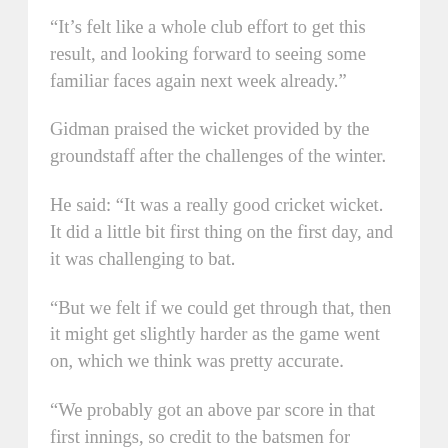“It’s felt like a whole club effort to get this result, and looking forward to seeing some familiar faces again next week already.”
Gidman praised the wicket provided by the groundstaff after the challenges of the winter.
He said: “It was a really good cricket wicket. It did a little bit first thing on the first day, and it was challenging to bat.
“But we felt if we could get through that, then it might get slightly harder as the game went on, which we think was pretty accurate.
“We probably got an above par score in that first innings, so credit to the batsmen for getting those runs on the board.
“The wicket played exactly as we thought. It was